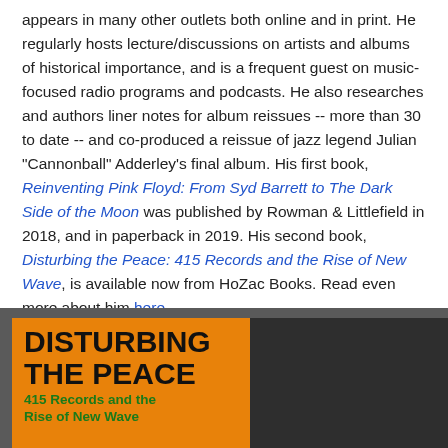appears in many other outlets both online and in print. He regularly hosts lecture/discussions on artists and albums of historical importance, and is a frequent guest on music-focused radio programs and podcasts. He also researches and authors liner notes for album reissues -- more than 30 to date -- and co-produced a reissue of jazz legend Julian "Cannonball" Adderley's final album. His first book, Reinventing Pink Floyd: From Syd Barrett to The Dark Side of the Moon was published by Rowman & Littlefield in 2018, and in paperback in 2019. His second book, Disturbing the Peace: 415 Records and the Rise of New Wave, is available now from HoZac Books. Read even more about him here.
[Figure (illustration): Book cover for 'Disturbing the Peace: 415 Records and the Rise of New Wave' with orange background, bold black title text and green subtitle text]